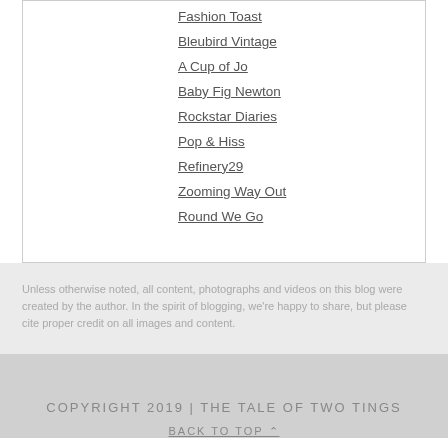Fashion Toast
Bleubird Vintage
A Cup of Jo
Baby Fig Newton
Rockstar Diaries
Pop & Hiss
Refinery29
Zooming Way Out
Round We Go
Unless otherwise noted, all content, photographs and videos on this blog were created by the author. In the spirit of blogging, we're happy to share, but please cite proper credit on all images and content.
COPYRIGHT 2019 | THE TALE OF TWO TINGS
BACK TO TOP